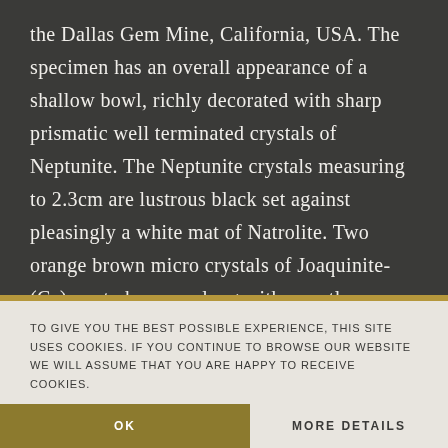the Dallas Gem Mine, California, USA. The specimen has an overall appearance of a shallow bowl, richly decorated with sharp prismatic well terminated crystals of Neptunite. The Neptunite crystals measuring to 2.3cm are lustrous black set against pleasingly a white mat of Natrolite. Two orange brown micro crystals of Joaquinite-(Ce) are to be seen along with a partly revealed crystal of pale blue Benitoite. A classic specimen of Neptunite from this
TO GIVE YOU THE BEST POSSIBLE EXPERIENCE, THIS SITE USES COOKIES. IF YOU CONTINUE TO BROWSE OUR WEBSITE WE WILL ASSUME THAT YOU ARE HAPPY TO RECEIVE COOKIES.
OK
MORE DETAILS